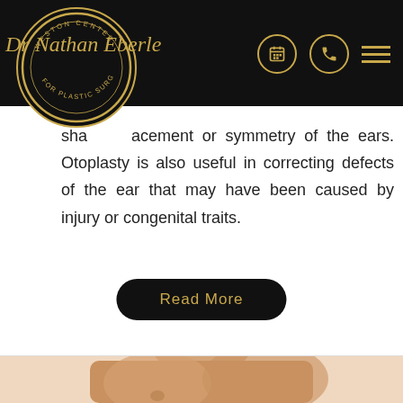[Figure (logo): Dr. Nathan Eberle – Weston Center for Plastic Surgery logo. Black circle with gold ring, gold cursive script name over circular badge with text 'WESTON CENTER FOR PLASTIC SURGERY' around the perimeter.]
shape, placement or symmetry of the ears. Otoplasty is also useful in correcting defects of the ear that may have been caused by injury or congenital traits.
[Figure (illustration): Black rounded-rectangle button with gold text reading 'Read More']
[Figure (photo): Photo of a shirtless muscular male torso against a white background, showing chest and upper abdomen.]